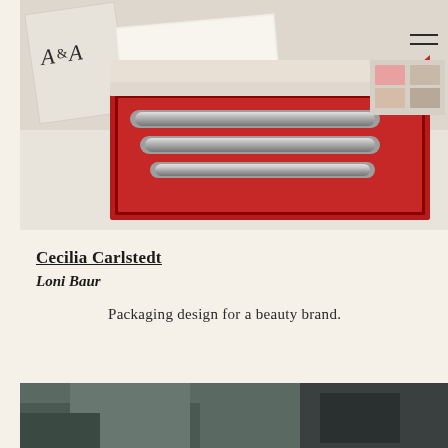[Figure (photo): A red luxury cosmetics gift box open, containing chrome/silver cosmetic tubes/pencils arranged in a red interior. A white card or booklet leans against the box. A logo 'A&A' visible in top left. Light background.]
Cecilia Carlstedt
Loni Baur
Packaging design for a beauty brand.
[Figure (photo): Partial bottom photo, dark teal/green tones, appears to show an artistic or studio scene.]